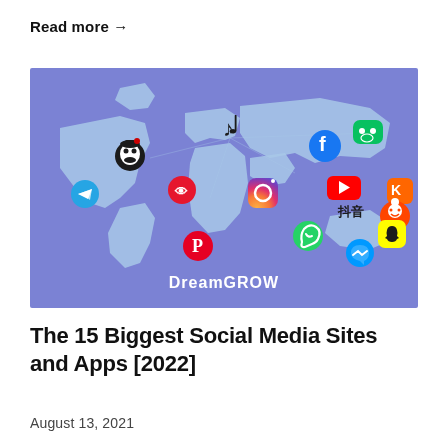Read more →
[Figure (illustration): World map on purple/blue background with social media app icons (QQ, TikTok, Facebook, WeChat, Telegram, Weibo, Instagram, YouTube, Douyin/抖音, Kuaishou, Reddit, WhatsApp, Snapchat, Pinterest, Messenger) placed over different regions. 'DreamGrow' watermark at bottom center.]
The 15 Biggest Social Media Sites and Apps [2022]
August 13, 2021